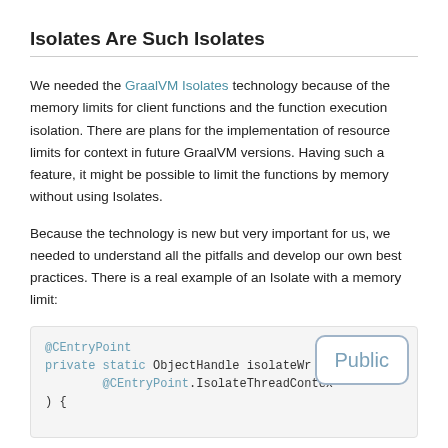Isolates Are Such Isolates
We needed the GraalVM Isolates technology because of the memory limits for client functions and the function execution isolation. There are plans for the implementation of resource limits for context in future GraalVM versions. Having such a feature, it might be possible to limit the functions by memory without using Isolates.
Because the technology is new but very important for us, we needed to understand all the pitfalls and develop our own best practices. There is a real example of an Isolate with a memory limit:
[Figure (screenshot): Code block showing Java/GraalVM code snippet with @CEntryPoint annotation, private static ObjectHandle isolateWr..., @CEntryPoint.IsolateThreadContex..., ) { and a truncated next line. A 'Public' label overlay is visible in the bottom-right corner of the code block.]